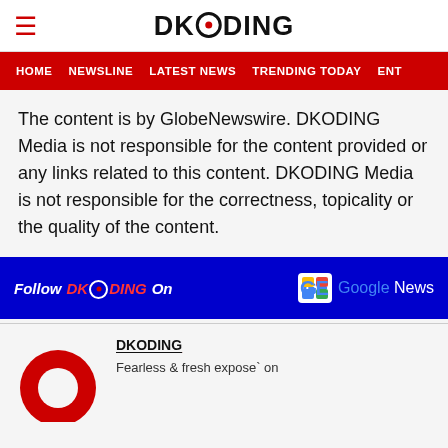DKODING
HOME  NEWSLINE  LATEST NEWS  TRENDING TODAY  ENT
The content is by GlobeNewswire. DKODING Media is not responsible for the content provided or any links related to this content. DKODING Media is not responsible for the correctness, topicality or the quality of the content.
[Figure (infographic): Blue banner: Follow DKODING On Google News]
DKODING
Fearless & fresh expose` on